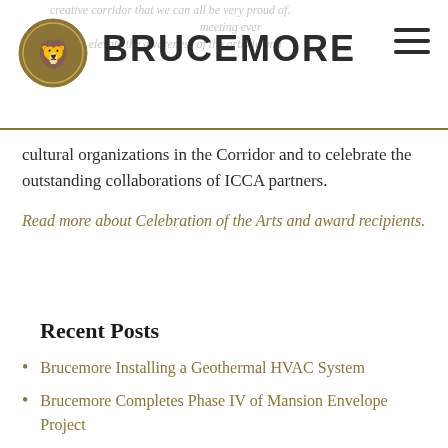BRUCEMORE
cultural organizations in the Corridor and to celebrate the outstanding collaborations of ICCA partners.
Read more about Celebration of the Arts and award recipients.
Recent Posts
Brucemore Installing a Geothermal HVAC System
Brucemore Completes Phase IV of Mansion Envelope Project
New Members Elected to Board of Trustees
Derecho Recovery: Conserving Statuary and